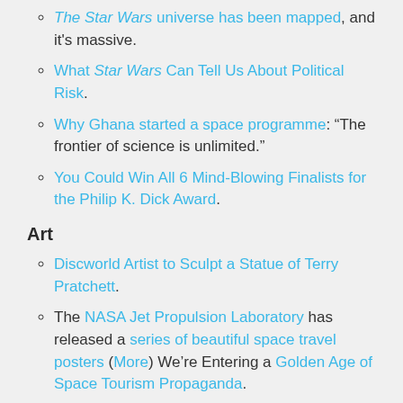The Star Wars universe has been mapped, and it's massive.
What Star Wars Can Tell Us About Political Risk.
Why Ghana started a space programme: “The frontier of science is unlimited.”
You Could Win All 6 Mind-Blowing Finalists for the Philip K. Dick Award.
Art
Discworld Artist to Sculpt a Statue of Terry Pratchett.
The NASA Jet Propulsion Laboratory has released a series of beautiful space travel posters (More) We’re Entering a Golden Age of Space Tourism Propaganda.
Steampunk Italia Cosplay.